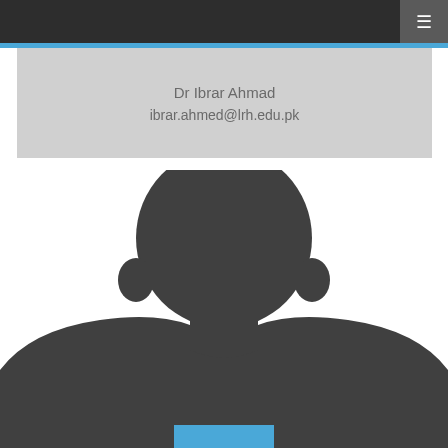Dr Ibrar Ahmad
ibrar.ahmed@lrh.edu.pk
[Figure (photo): Default profile silhouette placeholder image showing a generic person outline in dark gray against a white background, with a blue rectangle at the bottom center suggesting a name badge or shirt collar]